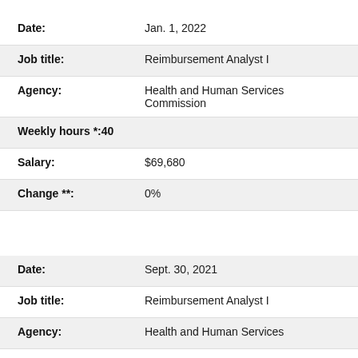| Field | Value |
| --- | --- |
| Date: | Jan. 1, 2022 |
| Job title: | Reimbursement Analyst I |
| Agency: | Health and Human Services Commission |
| Weekly hours *: | 40 |
| Salary: | $69,680 |
| Change **: | 0% |
| Field | Value |
| --- | --- |
| Date: | Sept. 30, 2021 |
| Job title: | Reimbursement Analyst I |
| Agency: | Health and Human Services |